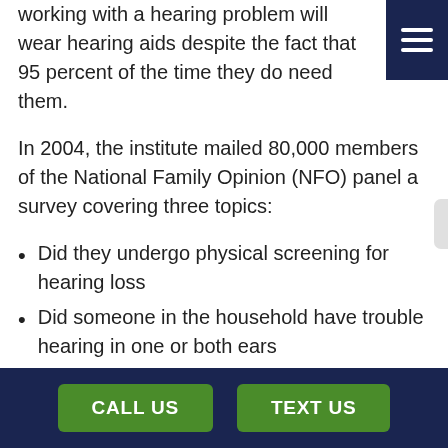working with a hearing problem will wear hearing aids despite the fact that 95 percent of the time they do need them.
In 2004, the institute mailed 80,000 members of the National Family Opinion (NFO) panel a survey covering three topics:
Did they undergo physical screening for hearing loss
Did someone in the household have trouble hearing in one or both ears
Did that person wear a hearing aid
The NFO panel is automatically broken down by
CALL US   TEXT US